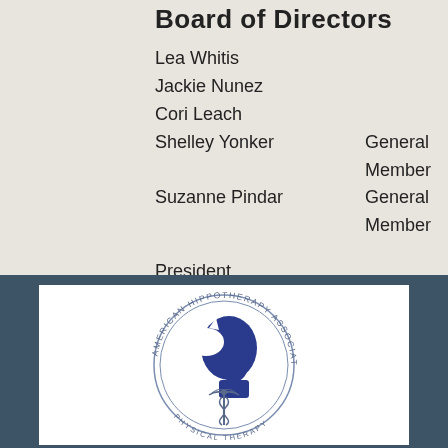Board of Directors
Lea Whitis
Jackie Nunez
Cori Leach
Shelley Yonker    General Member
Suzanne Pindar    General Member
President
Secretary
Treasurer
[Figure (logo): American Hippotherapy Association, Inc. logo — circular seal with text around the border reading 'AMERICAN HIPPOTHERAPY ASSOCIATION, INC.' and subtitle 'PHY... APY', containing a blue silhouette of a human profile (person and horse head overlapping) with a caduceus medical symbol below.]